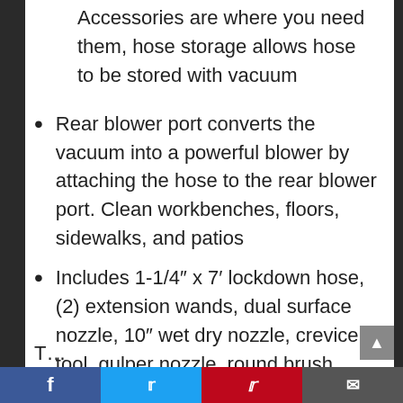Accessories are where you need them, hose storage allows hose to be stored with vacuum
Rear blower port converts the vacuum into a powerful blower by attaching the hose to the rear blower port. Clean workbenches, floors, sidewalks, and patios
Includes 1-1/4″ x 7′ lockdown hose, (2) extension wands, dual surface nozzle, 10″ wet dry nozzle, crevice tool, gulper nozzle, round brush, cartridge filter with retainer, high efficiency filter bag.
T… (cut off at bottom)